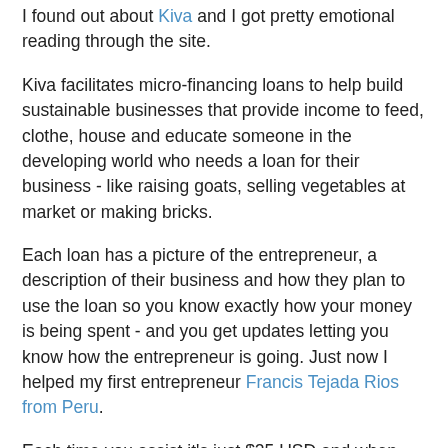I found out about Kiva and I got pretty emotional reading through the site.
Kiva facilitates micro-financing loans to help build sustainable businesses that provide income to feed, clothe, house and educate someone in the developing world who needs a loan for their business - like raising goats, selling vegetables at market or making bricks.
Each loan has a picture of the entrepreneur, a description of their business and how they plan to use the loan so you know exactly how your money is being spent - and you get updates letting you know how the entrepreneur is going. Just now I helped my first entrepreneur Francis Tejada Rios from Peru.
Each time you assist it's just $25 USD and when the entrepreneur repays the loan, you get that money back to either on-lend or to withdraw.
I've also started a team on Kiva – if you'd like to join, simply head here http://www.kiva.org/community/viewTeam?